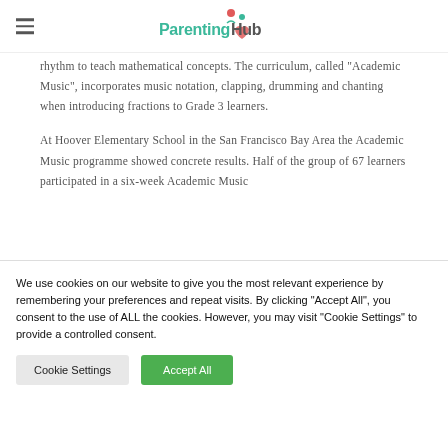ParentingHub
rhythm to teach mathematical concepts. The curriculum, called “Academic Music”, incorporates music notation, clapping, drumming and chanting when introducing fractions to Grade 3 learners.
At Hoover Elementary School in the San Francisco Bay Area the Academic Music programme showed concrete results. Half of the group of 67 learners participated in a six-week Academic Music
We use cookies on our website to give you the most relevant experience by remembering your preferences and repeat visits. By clicking “Accept All”, you consent to the use of ALL the cookies. However, you may visit "Cookie Settings" to provide a controlled consent.